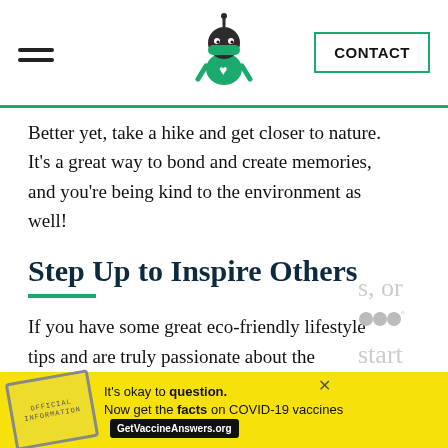CONTACT
Better yet, take a hike and get closer to nature. It's a great way to bond and create memories, and you're being kind to the environment as well!
Step Up to Inspire Others
If you have some great eco-friendly lifestyle tips and are truly passionate about the environment, you may want to consider speaking up to teach others what you know. It's
[Figure (other): Advertisement banner: yellow background with COVID-19 vaccine information. Text: It's okay to question. Now get the facts on COVID-19 vaccines. GetVaccineAnswers.org]